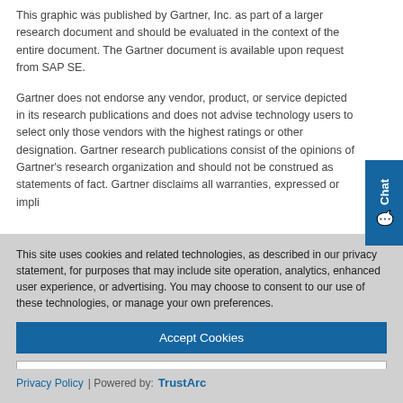This graphic was published by Gartner, Inc. as part of a larger research document and should be evaluated in the context of the entire document. The Gartner document is available upon request from SAP SE.
Gartner does not endorse any vendor, product, or service depicted in its research publications and does not advise technology users to select only those vendors with the highest ratings or other designation. Gartner research publications consist of the opinions of Gartner's research organization and should not be construed as statements of fact. Gartner disclaims all warranties, expressed or impli...
This site uses cookies and related technologies, as described in our privacy statement, for purposes that may include site operation, analytics, enhanced user experience, or advertising. You may choose to consent to our use of these technologies, or manage your own preferences.
Accept Cookies
More Information
Privacy Policy | Powered by: TrustArc